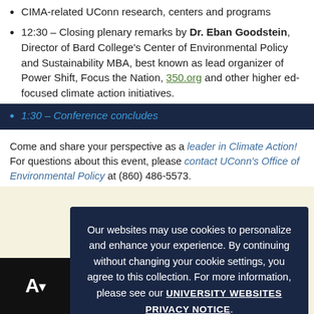CIMA-related UConn research, centers and programs
12:30 – Closing plenary remarks by Dr. Eban Goodstein, Director of Bard College's Center of Environmental Policy and Sustainability MBA, best known as lead organizer of Power Shift, Focus the Nation, 350.org and other higher ed-focused climate action initiatives.
1:30 – Conference concludes
Come and share your perspective as a leader in Climate Action! For questions about this event, please contact UConn's Office of Environmental Policy at (860) 486-5573.
Our websites may use cookies to personalize and enhance your experience. By continuing without changing your cookie settings, you agree to this collection. For more information, please see our UNIVERSITY WEBSITES PRIVACY NOTICE.